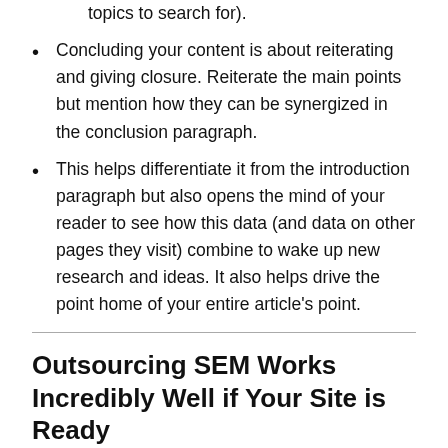topics to search for).
Concluding your content is about reiterating and giving closure. Reiterate the main points but mention how they can be synergized in the conclusion paragraph.
This helps differentiate it from the introduction paragraph but also opens the mind of your reader to see how this data (and data on other pages they visit) combine to wake up new research and ideas. It also helps drive the point home of your entire article's point.
Outsourcing SEM Works Incredibly Well if Your Site is Ready